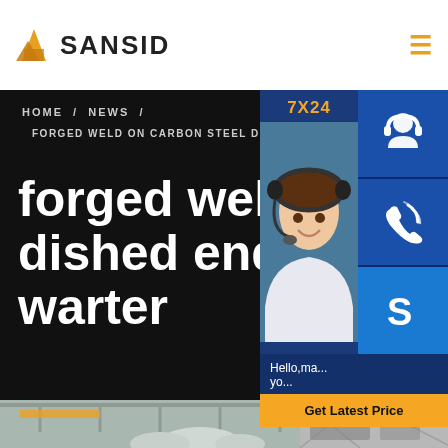[Figure (logo): SANSID company logo with orange triangular building icon and bold text]
[Figure (infographic): Right sidebar with 7X24 support badge, customer service representative photo, three blue icon buttons (headset, phone, Skype), Hello message, and Get Latest Price button]
HOME / NEWS /
FORGED WELD ON CARBON STEEL DISHED ... GAS WARTER
forged weld on carbon dished end cap for oil g... warter
[Figure (photo): Factory interior showing industrial manufacturing equipment and dished end caps, bottom strip]